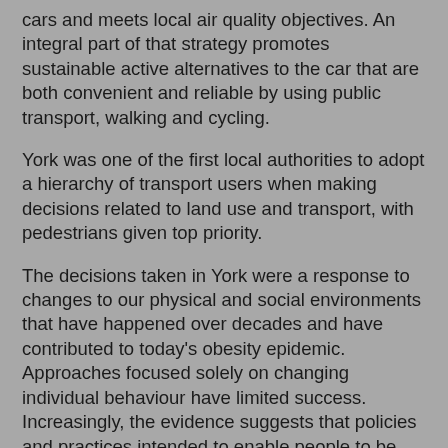cars and meets local air quality objectives. An integral part of that strategy promotes sustainable active alternatives to the car that are both convenient and reliable by using public transport, walking and cycling.
York was one of the first local authorities to adopt a hierarchy of transport users when making decisions related to land use and transport, with pedestrians given top priority.
The decisions taken in York were a response to changes to our physical and social environments that have happened over decades and have contributed to today's obesity epidemic. Approaches focused solely on changing individual behaviour have limited success. Increasingly, the evidence suggests that policies and practices intended to enable people to be physically active are more likely to be successful if they modify both the physical and social environments.
In Barcelona, city planning provides high-quality opportunities for people to live and work actively. Planners have accomplished this even though the site is small and